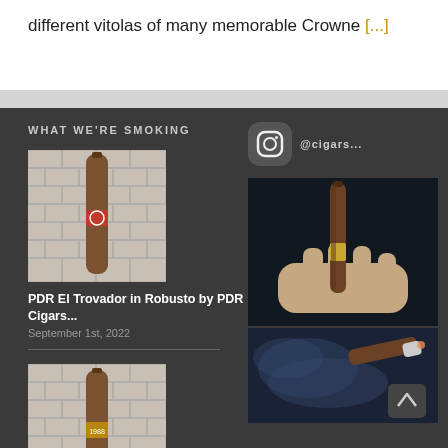different vitolas of many memorable Crowne [...]
WHAT WE'RE SMOKING
[Figure (photo): Cigar thumbnail image on brick background - PDR El Trovador in Robusto]
PDR El Trovador in Robusto by PDR Cigars...
September 1st, 2022
[Figure (photo): Cigar thumbnail image on brick background - Serie Gran Reserva 1988]
Serie Gran Reserva 1988 by Warped Cigars
[Figure (photo): Instagram icon]
[Figure (photo): Photo of a cigar held in hand against dark background]
[Figure (photo): Photo of a lit cigar with smoke against blue background, with scroll-to-top button]